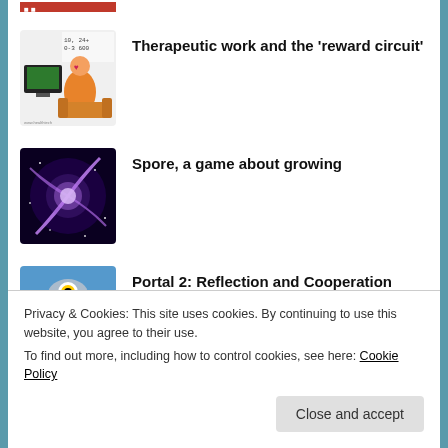[Figure (illustration): Partial thumbnail image at top, partially cropped]
[Figure (illustration): Thumbnail showing a person watching TV and an orange cartoon character, with math equations]
Therapeutic work and the ‘reward circuit’
[Figure (illustration): Thumbnail showing a purple spiral galaxy on dark background]
Spore, a game about growing
[Figure (illustration): Thumbnail showing a robot/GLaDOS from Portal 2 on blue background]
Portal 2: Reflection and Cooperation
Privacy & Cookies: This site uses cookies. By continuing to use this website, you agree to their use.
To find out more, including how to control cookies, see here: Cookie Policy
Close and accept